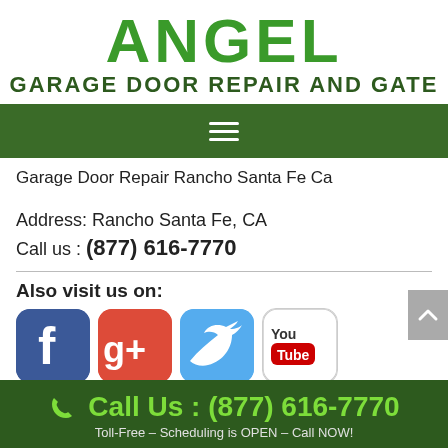ANGEL
GARAGE DOOR REPAIR AND GATE
[Figure (other): Navigation hamburger menu bar (dark green background with three white horizontal lines)]
Garage Door Repair Rancho Santa Fe Ca
Address: Rancho Santa Fe, CA
Call us : (877) 616-7770
Also visit us on:
[Figure (logo): Facebook, Google+, Twitter, and YouTube social media icons]
Call Us : (877) 616-7770
Toll-Free – Scheduling is OPEN – Call NOW!